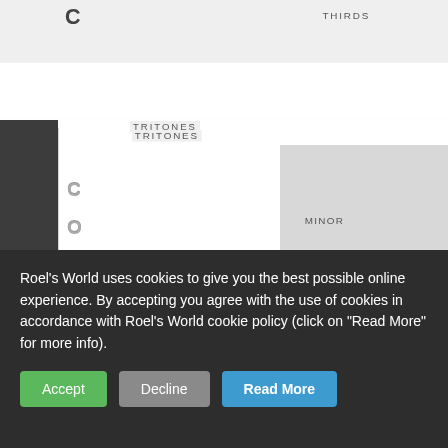[Figure (screenshot): Screenshot of a music theory table showing intervals (Thirds, Second, Major, Seventh, Tritones, Minor Sixths, Major Sixths, Minor Seventh, Fifth, Fourth) with letter rows C, O, F on the left sidebar, and an astrology/aspects row showing Opposition, Trine, Square, Sextile, Semi-S with corresponding symbols.]
Roel's World uses cookies to give you the best possible online experience. By accepting you agree with the use of cookies in accordance with Roel's World cookie policy (click on "Read More" for more info).
Accept
Decline
Read More